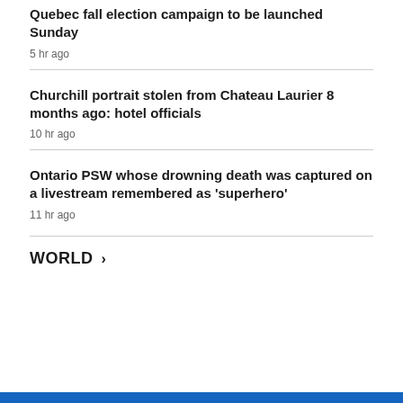Quebec fall election campaign to be launched Sunday
5 hr ago
Churchill portrait stolen from Chateau Laurier 8 months ago: hotel officials
10 hr ago
Ontario PSW whose drowning death was captured on a livestream remembered as 'superhero'
11 hr ago
WORLD >